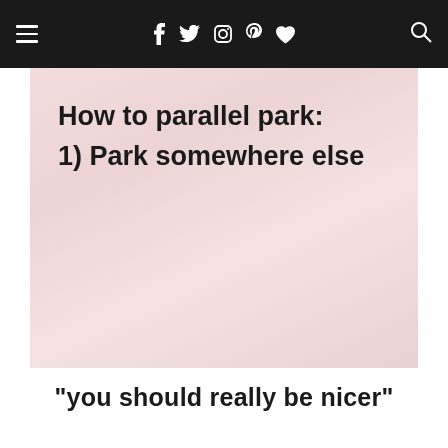≡  f  t  inst  p  ♥  🔍
[Figure (illustration): Meme image with pinkish background showing text: 'How to parallel park:' and '1) Park somewhere else']
"you should really be nicer"